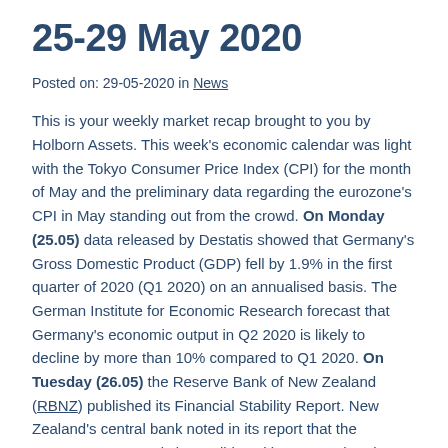25-29 May 2020
Posted on: 29-05-2020 in News
This is your weekly market recap brought to you by Holborn Assets. This week's economic calendar was light with the Tokyo Consumer Price Index (CPI) for the month of May and the preliminary data regarding the eurozone's CPI in May standing out from the crowd. On Monday (25.05) data released by Destatis showed that Germany's Gross Domestic Product (GDP) fell by 1.9% in the first quarter of 2020 (Q1 2020) on an annualised basis. The German Institute for Economic Research forecast that Germany's economic output in Q2 2020 is likely to decline by more than 10% compared to Q1 2020. On Tuesday (26.05) the Reserve Bank of New Zealand (RBNZ) published its Financial Stability Report. New Zealand's central bank noted in its report that the country's economy is in a solid position to weather the